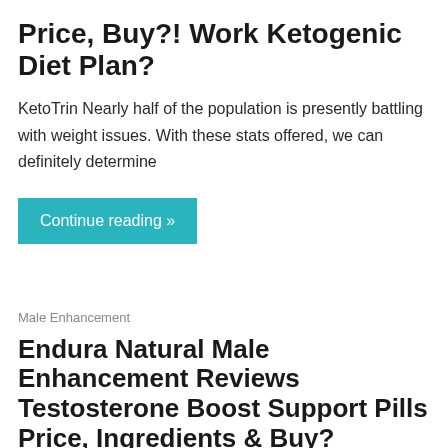Price, Buy?! Work Ketogenic Diet Plan?
KetoTrin Nearly half of the population is presently battling with weight issues. With these stats offered, we can definitely determine
Continue reading »
Male Enhancement
Endura Natural Male Enhancement Reviews Testosterone Boost Support Pills Price, Ingredients & Buy?
Endura Natural Male Enhancement: Endura Natural is a Male Improvement Supplement that